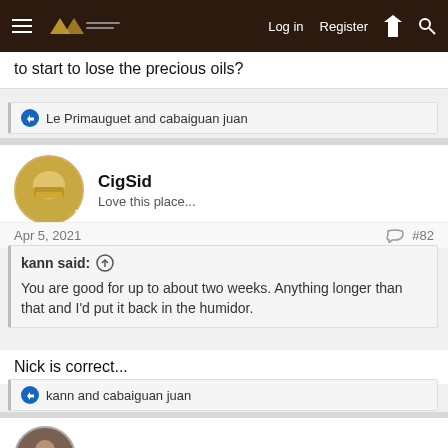Log in  Register
to start to lose the precious oils?
Le Primauguet and cabaiguan juan
CigSid
Love this place...
Apr 5, 2021  #82
kann said:
You are good for up to about two weeks. Anything longer than that and I'd put it back in the humidor.
Nick is correct...
kann and cabaiguan juan
bfreebern